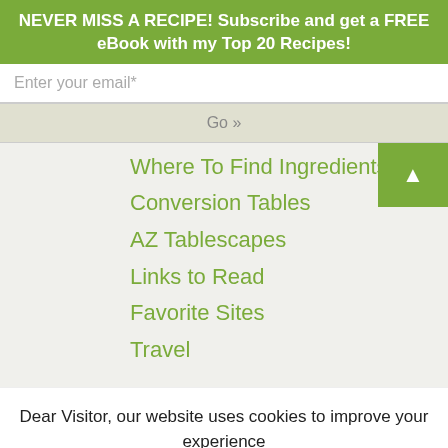NEVER MISS A RECIPE! Subscribe and get a FREE eBook with my Top 20 Recipes!
Enter your email*
Go »
Where To Find Ingredients
Conversion Tables
AZ Tablescapes
Links to Read
Favorite Sites
Travel
Dear Visitor, our website uses cookies to improve your experience and we assume you're ok with this.
Don't show this anymore
Privacy Policy